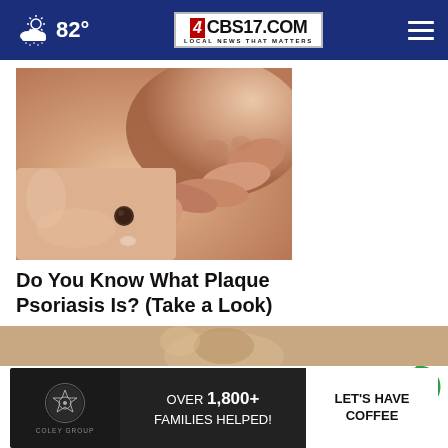82° CBS17.COM LOCAL NEWS THAT MATTERS
[Figure (photo): Close-up photo of a hand touching skin with a dark mole/psoriasis spot on a light-skinned body area]
Do You Know What Plaque Psoriasis Is? (Take a Look)
Ad by Plaque Psoriasis Treatment | S
AROUND THE WEB
[Figure (infographic): Taboola 'Around the Web' logo icon - circular green and white logo]
[Figure (screenshot): Ad banner: Coley Group - OVER 1,800+ FAMILIES HELPED! LET'S HAVE COFFEE]
[Figure (photo): Partial thumbnail image at bottom of page showing person]